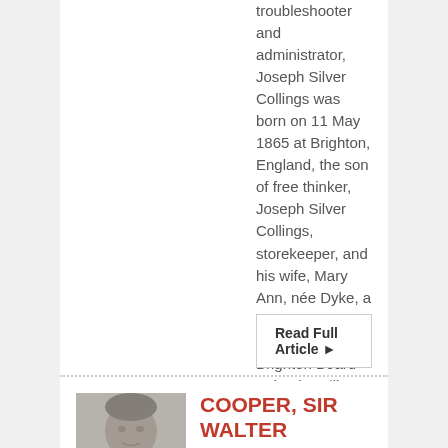troubleshooter and administrator, Joseph Silver Collings was born on 11 May 1865 at Brighton, England, the son of free thinker, Joseph Silver Collings, storekeeper, and his wife, Mary Ann, née Dyke, a Quaker. Educated at Brighton Board School, Collings became an apprentice journalist on the Sussex Daily News but emigrated to Brisbane with his parents in 1883 on the
Read Full Article ▸
[Figure (photo): Black and white portrait photograph of Sir Walter Jackson Cooper, an older man in a suit]
COOPER, SIR WALTER JACKSON (1888–1973)
SENATOR FOR QUEENSLAND, 1928–32, 1935–68 (COUNTRY